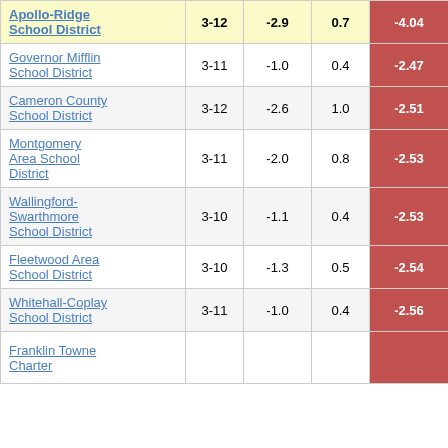| School District | Grades | Col3 | Col4 | Score |
| --- | --- | --- | --- | --- |
| Apollo-Ridge School District | 3-12 | -2.9 | 0.7 | -4.04 |
| Governor Mifflin School District | 3-11 | -1.0 | 0.4 | -2.47 |
| Cameron County School District | 3-12 | -2.6 | 1.0 | -2.51 |
| Montgomery Area School District | 3-11 | -2.0 | 0.8 | -2.53 |
| Wallingford-Swarthmore School District | 3-10 | -1.1 | 0.4 | -2.53 |
| Fleetwood Area School District | 3-10 | -1.3 | 0.5 | -2.54 |
| Whitehall-Coplay School District | 3-11 | -1.0 | 0.4 | -2.56 |
| Franklin Towne Charter |  |  |  |  |